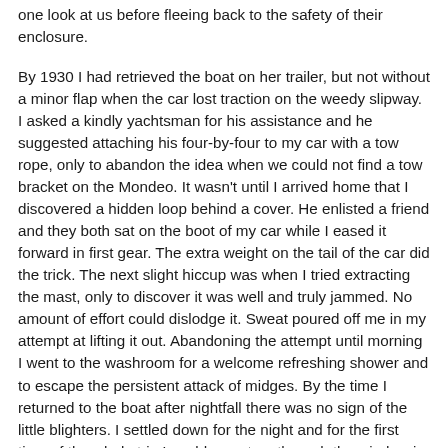one look at us before fleeing back to the safety of their enclosure.
By 1930 I had retrieved the boat on her trailer, but not without a minor flap when the car lost traction on the weedy slipway. I asked a kindly yachtsman for his assistance and he suggested attaching his four-by-four to my car with a tow rope, only to abandon the idea when we could not find a tow bracket on the Mondeo. It wasn't until I arrived home that I discovered a hidden loop behind a cover. He enlisted a friend and they both sat on the boot of my car while I eased it forward in first gear. The extra weight on the tail of the car did the trick. The next slight hiccup was when I tried extracting the mast, only to discover it was well and truly jammed. No amount of effort could dislodge it. Sweat poured off me in my attempt at lifting it out. Abandoning the attempt until morning I went to the washroom for a welcome refreshing shower and to escape the persistent attack of midges. By the time I returned to the boat after nightfall there was no sign of the little blighters. I settled down for the night and for the first time of the whole trip I could see stars through the window in the hatch.